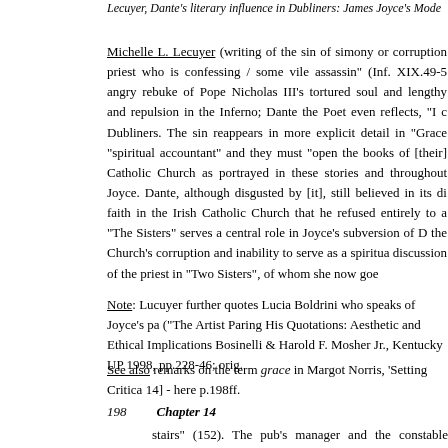Lecuyer, Dante's literary influence in Dubliners: James Joyce's Mode
Michelle L. Lecuyer (writing of the sin of simony or corruption priest who is confessing / some vile assassin" (Inf. XIX.49-5 angry rebuke of Pope Nicholas III's tortured soul and lengthy and repulsion in the Inferno; Dante the Poet even reflects, "I c Dubliners. The sin reappears in more explicit detail in "Grace "spiritual accountant" and they must "open the books of [their] Catholic Church as portrayed in these stories and throughout Joyce. Dante, although disgusted by [it], still believed in its di faith in the Irish Catholic Church that he refused entirely to a "The Sisters" serves a central role in Joyce's subversion of D the Church's corruption and inability to serve as a spiritua discussion of the priest in "Two Sisters", of whom she now goe
Note: Lucuyer further quotes Lucia Boldrini who speaks of Joyce's pa ("The Artist Paring His Quotations: Aesthetic and Ethical Implications Bosinelli & Harold F. Mosher Jr., Kentucky UP 1998, pp.228-46; orig.
See also remarks on the term grace in Margot Norris, 'Setting Critica 14] - here p.198ff.
198    Chapter 14
stairs" (152). The pub's manager and the constable inspect the stairs an that the gentleman must have missed his footing" (153). When Mr. Po ond time "asked him to tell how the accident had happened" Tom pleads he can't speak—"I 'an't, 'an, he answered, 'y 'ongue is hurt" (153 nan's home, Mr. Power explicitly exonerates himself to Mrs. Kern Power was careful to explain to her that he was not responsible, th